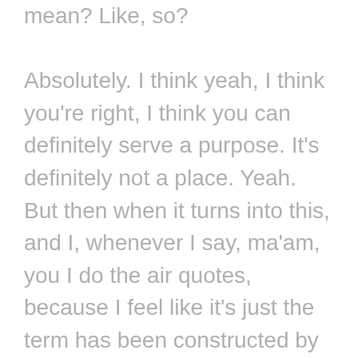mean? Like, so? Absolutely. I think yeah, I think you're right, I think you can definitely serve a purpose. It's definitely not a place. Yeah. But then when it turns into this, and I, whenever I say, ma'am, you I do the air quotes, because I feel like it's just the term has been constructed by a new social media hashtag, you know, it's this theme. This this plan, and, and that's why I hate saying it, but I feel like it's when I say, Do you feel guilty? That sounds really creepy. You know? You're not